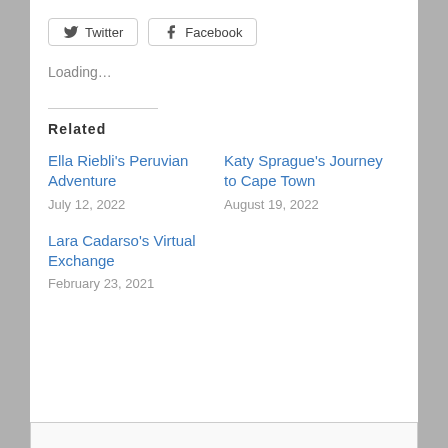[Figure (other): Social share buttons: Twitter and Facebook with icons and bordered style]
Loading...
Related
Ella Riebli's Peruvian Adventure
July 12, 2022
Katy Sprague's Journey to Cape Town
August 19, 2022
Lara Cadarso's Virtual Exchange
February 23, 2021